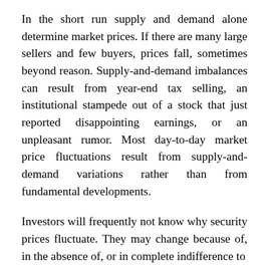In the short run supply and demand alone determine market prices. If there are many large sellers and few buyers, prices fall, sometimes beyond reason. Supply-and-demand imbalances can result from year-end tax selling, an institutional stampede out of a stock that just reported disappointing earnings, or an unpleasant rumor. Most day-to-day market price fluctuations result from supply-and-demand variations rather than from fundamental developments.
Investors will frequently not know why security prices fluctuate. They may change because of, in the absence of, or in complete indifference to